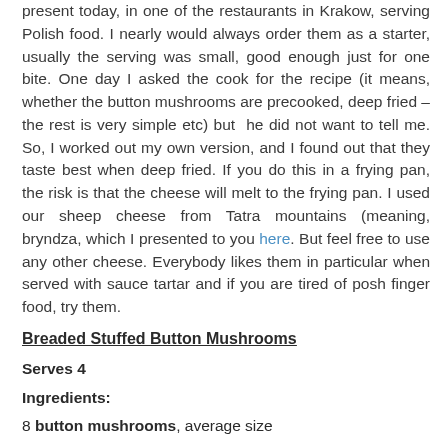present today, in one of the restaurants in Krakow, serving Polish food. I nearly would always order them as a starter, usually the serving was small, good enough just for one bite. One day I asked the cook for the recipe (it means, whether the button mushrooms are precooked, deep fried – the rest is very simple etc) but  he did not want to tell me. So, I worked out my own version, and I found out that they taste best when deep fried. If you do this in a frying pan, the risk is that the cheese will melt to the frying pan. I used our sheep cheese from Tatra mountains (meaning, bryndza, which I presented to you here. But feel free to use any other cheese. Everybody likes them in particular when served with sauce tartar and if you are tired of posh finger food, try them.
Breaded Stuffed Button Mushrooms
Serves 4
Ingredients:
8 button mushrooms, average size
appx. 100 g bread crumbs